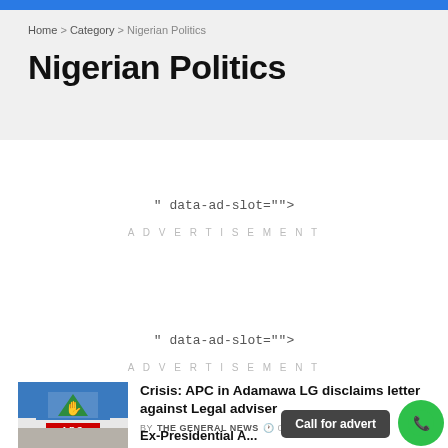Home > Category > Nigerian Politics
Nigerian Politics
" data-ad-slot="">
ADVERTISEMENT
" data-ad-slot="">
ADVERTISEMENT
Crisis: APC in Adamawa LG disclaims letter against Legal adviser
BY THE GENERAL NEWS
Ex-Presidential A...